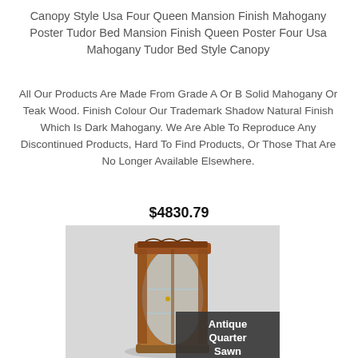Canopy Style Usa Four Queen Mansion Finish Mahogany Poster Tudor Bed Mansion Finish Queen Poster Four Usa Mahogany Tudor Bed Style Canopy
All Our Products Are Made From Grade A Or B Solid Mahogany Or Teak Wood. Finish Colour Our Trademark Shadow Natural Finish Which Is Dark Mahogany. We Are Able To Reproduce Any Discontinued Products, Hard To Find Products, Or Those That Are No Longer Available Elsewhere.
$4830.79
[Figure (photo): Photo of an antique quarter sawn wooden curio cabinet with glass front and carved top, displayed against a light background. A dark overlay banner in the bottom-right corner reads 'Antique Quarter Sawn'.]